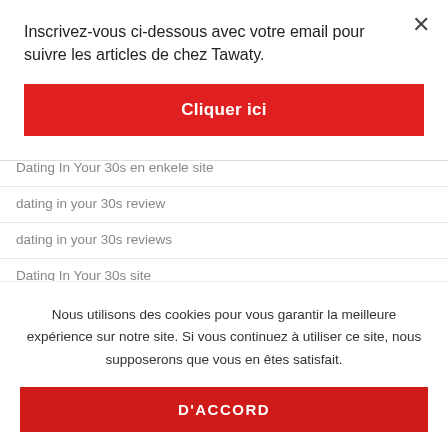×
Inscrivez-vous ci-dessous avec votre email pour suivre les articles de chez Tawaty.
Cliquer ici
Dating In Your 30s en enkele site
dating in your 30s review
dating in your 30s reviews
Dating In Your 30s site
Dating In Your 30s sites pour adultes
Nous utilisons des cookies pour vous garantir la meilleure expérience sur notre site. Si vous continuez à utiliser ce site, nous supposerons que vous en êtes satisfait.
D'ACCORD